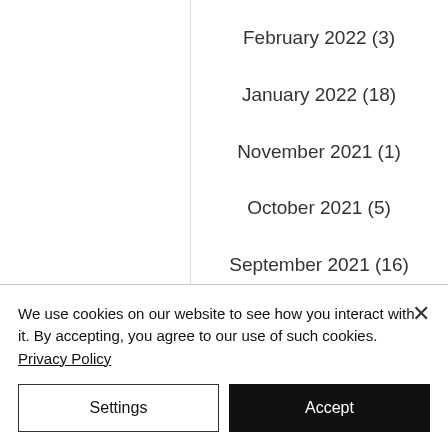February 2022 (3)
January 2022 (18)
November 2021 (1)
October 2021 (5)
September 2021 (16)
August 2021 (3)
May 2021 (2)
We use cookies on our website to see how you interact with it. By accepting, you agree to our use of such cookies. Privacy Policy
Settings
Accept